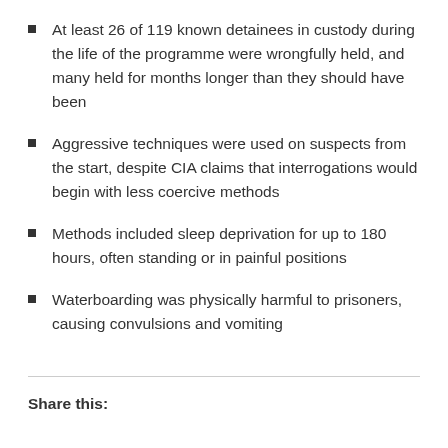At least 26 of 119 known detainees in custody during the life of the programme were wrongfully held, and many held for months longer than they should have been
Aggressive techniques were used on suspects from the start, despite CIA claims that interrogations would begin with less coercive methods
Methods included sleep deprivation for up to 180 hours, often standing or in painful positions
Waterboarding was physically harmful to prisoners, causing convulsions and vomiting
Share this: